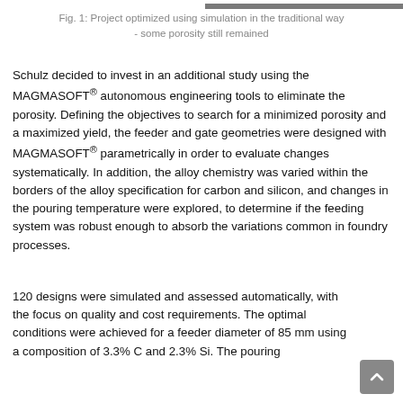[Figure (photo): Partial view of a casting component showing porosity defects, dark grayscale image cropped at top right.]
Fig. 1: Project optimized using simulation in the traditional way - some porosity still remained
Schulz decided to invest in an additional study using the MAGMASOFT® autonomous engineering tools to eliminate the porosity. Defining the objectives to search for a minimized porosity and a maximized yield, the feeder and gate geometries were designed with MAGMASOFT® parametrically in order to evaluate changes systematically. In addition, the alloy chemistry was varied within the borders of the alloy specification for carbon and silicon, and changes in the pouring temperature were explored, to determine if the feeding system was robust enough to absorb the variations common in foundry processes.
120 designs were simulated and assessed automatically, with the focus on quality and cost requirements. The optimal conditions were achieved for a feeder diameter of 85 mm using a composition of 3.3% C and 2.3% Si. The pouring